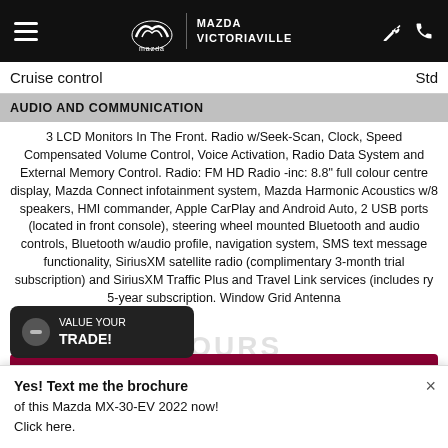MAZDA VICTORIAVILLE
Cruise control   Std
AUDIO AND COMMUNICATION
3 LCD Monitors In The Front. Radio w/Seek-Scan, Clock, Speed Compensated Volume Control, Voice Activation, Radio Data System and External Memory Control. Radio: FM HD Radio -inc: 8.8" full colour centre display, Mazda Connect infotainment system, Mazda Harmonic Acoustics w/8 speakers, HMI commander, Apple CarPlay and Android Auto, 2 USB ports (located in front console), steering wheel mounted Bluetooth and audio controls, Bluetooth w/audio profile, navigation system, SMS text message functionality, SiriusXM satellite radio (complimentary 3-month trial subscription) and SiriusXM Traffic Plus and Travel Link services (includes ry 5-year subscription. Window Grid Antenna
VALUE YOUR TRADE!
DISCOVER THE OFFER!
Yes! Text me the brochure of this Mazda MX-30-EV 2022 now! Click here.